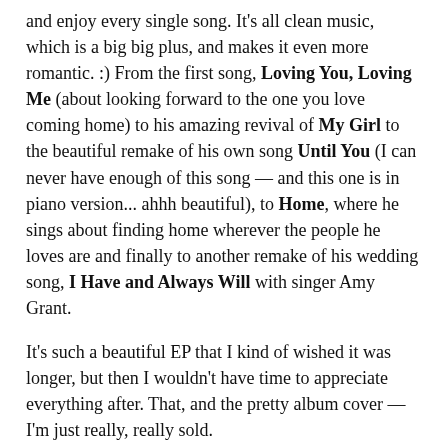and enjoy every single song. It's all clean music, which is a big big plus, and makes it even more romantic. :) From the first song, Loving You, Loving Me (about looking forward to the one you love coming home) to his amazing revival of My Girl to the beautiful remake of his own song Until You (I can never have enough of this song — and this one is in piano version... ahhh beautiful), to Home, where he sings about finding home wherever the people he loves are and finally to another remake of his wedding song, I Have and Always Will with singer Amy Grant.
It's such a beautiful EP that I kind of wished it was longer, but then I wouldn't have time to appreciate everything after. That, and the pretty album cover — I'm just really, really sold.
So don't miss out. :P His EP is available in iTunes, and you can also drop by his website to watch videos and listen to voicemail which will only be available until February 14. And did I mention that Dave is such a comedian? :P